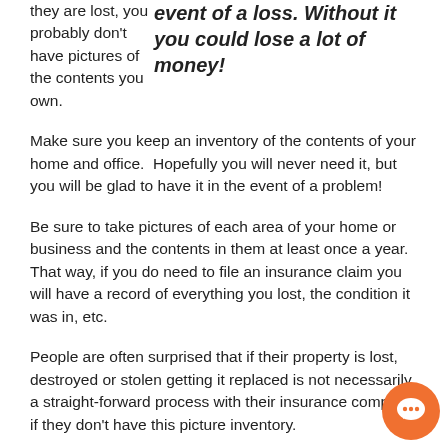they are lost, you probably don't have pictures of the contents you own.
event of a loss. Without it you could lose a lot of money!
Make sure you keep an inventory of the contents of your home and office.  Hopefully you will never need it, but you will be glad to have it in the event of a problem!
Be sure to take pictures of each area of your home or business and the contents in them at least once a year. That way, if you do need to file an insurance claim you will have a record of everything you lost, the condition it was in, etc.
People are often surprised that if their property is lost, destroyed or stolen getting it replaced is not necessarily a straight-forward process with their insurance company if they don't have this picture inventory.
For example, if you were to lose a desk in a fire and don't have a picture inventory the amount you will be reimbursed could be a surprise.  Your $1000 mint condition 'classic' des...